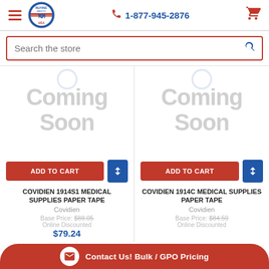1-877-945-2876
Search the store
[Figure (screenshot): Product card: Coming Soon placeholder image for COVIDIEN 1914S1 MEDICAL SUPPLIES PAPER TAPE, with Add to Cart button, compare button, brand Covidien, Base Price $88.05, Online Discounted price $79.24]
[Figure (screenshot): Product card: Coming Soon placeholder image for COVIDIEN 1914C MEDICAL SUPPLIES PAPER TAPE, with Add to Cart button, compare button, brand Covidien, Base Price $84.59]
Contact Us! Bulk / GPO Pricing